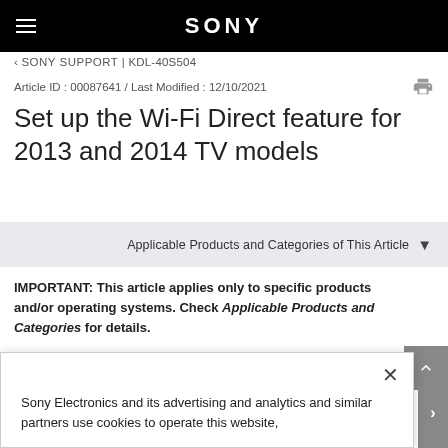SONY
‹ SONY SUPPORT | KDL-40S504
Article ID : 00087641 / Last Modified : 12/10/2021
Set up the Wi-Fi Direct feature for 2013 and 2014 TV models
Applicable Products and Categories of This Article
IMPORTANT: This article applies only to specific products and/or operating systems. Check Applicable Products and Categories for details.
Sony Electronics and its advertising and analytics and similar partners use cookies to operate this website,